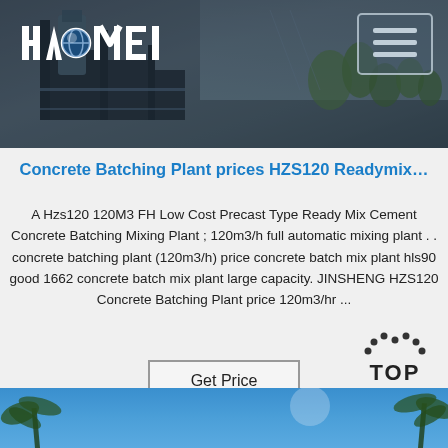[Figure (photo): HAOMEI company header banner showing industrial concrete batching plant equipment/factory with steel structures, trees in background, dark overlay. Company logo 'HAOMEI' in white top-left, hamburger menu button top-right.]
Concrete Batching Plant prices HZS120 Readymix…
A Hzs120 120M3 FH Low Cost Precast Type Ready Mix Cement Concrete Batching Mixing Plant ; 120m3/h full automatic mixing plant . . concrete batching plant (120m3/h) price concrete batch mix plant hls90 good 1662 concrete batch mix plant large capacity. JINSHENG HZS120 Concrete Batching Plant price 120m3/hr ...
Get Price
[Figure (illustration): TOP navigation button with dotted arc above the word TOP in bold black text, bottom-right corner]
[Figure (photo): Bottom strip showing blue sky with palm trees partially visible at bottom of page]